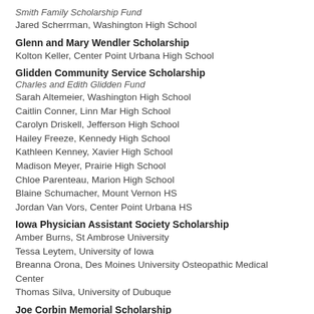Smith Family Scholarship Fund
Jared Scherrman, Washington High School
Glenn and Mary Wendler Scholarship
Kolton Keller, Center Point Urbana High School
Glidden Community Service Scholarship
Charles and Edith Glidden Fund
Sarah Altemeier, Washington High School
Caitlin Conner, Linn Mar High School
Carolyn Driskell, Jefferson High School
Hailey Freeze, Kennedy High School
Kathleen Kenney, Xavier High School
Madison Meyer, Prairie High School
Chloe Parenteau, Marion High School
Blaine Schumacher, Mount Vernon HS
Jordan Van Vors, Center Point Urbana HS
Iowa Physician Assistant Society Scholarship
Amber Burns, St Ambrose University
Tessa Leytem, University of Iowa
Breanna Orona, Des Moines University Osteopathic Medical Center
Thomas Silva, University of Dubuque
Joe Corbin Memorial Scholarship
Kelsey Maher, Decorah Community School